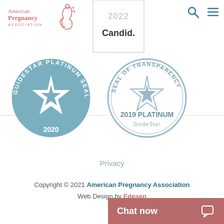[Figure (logo): American Pregnancy Association logo with pregnant woman silhouette in coral/pink color]
[Figure (logo): 2022 Candid transparency badge partially visible at top]
[Figure (logo): GuideStar Platinum Seal of Transparency 2020 circular badge in blue]
[Figure (logo): Seal of Transparency 2019 Platinum GuideStar circular badge in grey-blue]
Privacy
Copyright © 2021 American Pregnancy Association
Web Design by Edesen
[Figure (other): Chat now button bar in muted rose/red color with chat icon]